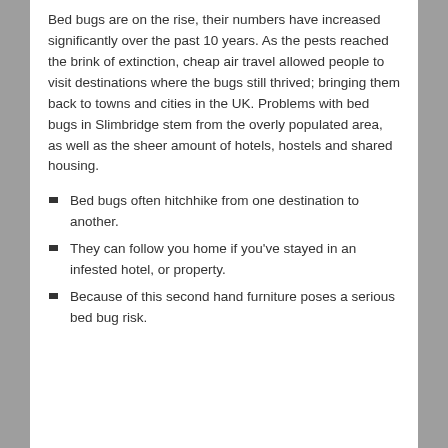Bed bugs are on the rise, their numbers have increased significantly over the past 10 years. As the pests reached the brink of extinction, cheap air travel allowed people to visit destinations where the bugs still thrived; bringing them back to towns and cities in the UK. Problems with bed bugs in Slimbridge stem from the overly populated area, as well as the sheer amount of hotels, hostels and shared housing.
Bed bugs often hitchhike from one destination to another.
They can follow you home if you've stayed in an infested hotel, or property.
Because of this second hand furniture poses a serious bed bug risk.